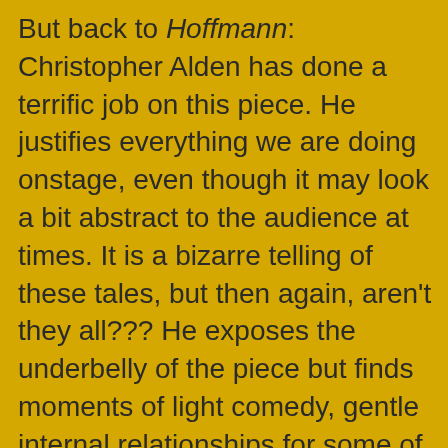But back to Hoffmann: Christopher Alden has done a terrific job on this piece. He justifies everything we are doing onstage, even though it may look a bit abstract to the audience at times. It is a bizarre telling of these tales, but then again, aren't they all??? He exposes the underbelly of the piece but finds moments of light comedy, gentle internal relationships for some of the characters, and is justified in everything he suggests. That is to say, with one comparable director over the years, Mr. Alden knows EVERY word, both spoken and sung of this entire opera. (Funny, the last director to do this was also directing Hoffmann {Marc Verzatt} years